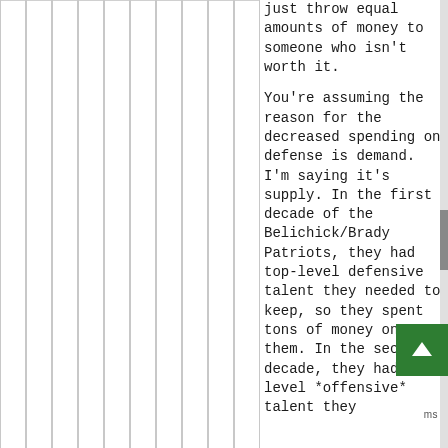just throw equal amounts of money to someone who isn't worth it.

You're assuming the reason for the decreased spending on defense is demand. I'm saying it's supply. In the first decade of the Belichick/Brady Patriots, they had top-level defensive talent they needed to keep, so they spent tons of money on them. In the second decade, they had top-level *offensive* talent they